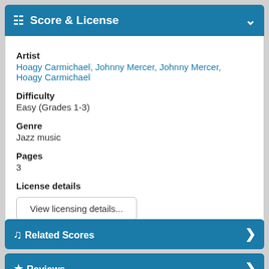Score & License
Artist
Hoagy Carmichael, Johnny Mercer, Johnny Mercer, Hoagy Carmichael
Difficulty
Easy (Grades 1-3)
Genre
Jazz music
Pages
3
License details
View licensing details...
Related Scores
Reviews